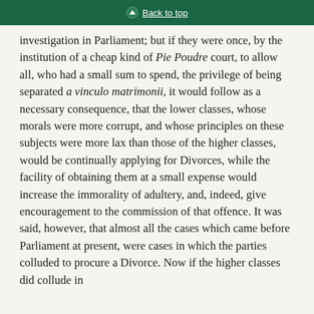Back to top
investigation in Parliament; but if they were once, by the institution of a cheap kind of Pie Poudre court, to allow all, who had a small sum to spend, the privilege of being separated a vinculo matrimonii, it would follow as a necessary consequence, that the lower classes, whose morals were more corrupt, and whose principles on these subjects were more lax than those of the higher classes, would be continually applying for Divorces, while the facility of obtaining them at a small expense would increase the immorality of adultery, and, indeed, give encouragement to the commission of that offence. It was said, however, that almost all the cases which came before Parliament at present, were cases in which the parties colluded to procure a Divorce. Now if the higher classes did collude in